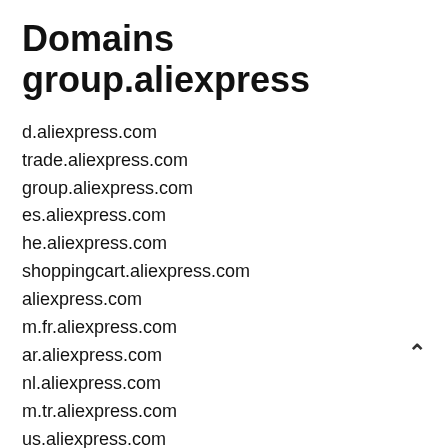Domains group.aliexpress
d.aliexpress.com
trade.aliexpress.com
group.aliexpress.com
es.aliexpress.com
he.aliexpress.com
shoppingcart.aliexpress.com
aliexpress.com
m.fr.aliexpress.com
ar.aliexpress.com
nl.aliexpress.com
m.tr.aliexpress.com
us.aliexpress.com
de.aliexpress.com
activities.aliexpress.com
m.aliexpress.com
no.aliexpress.com
best.aliexpress.com